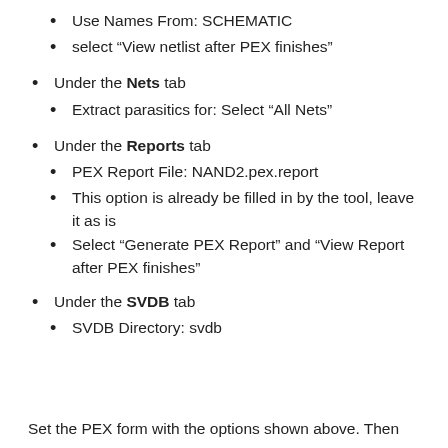Use Names From: SCHEMATIC
select “View netlist after PEX finishes”
Under the Nets tab
Extract parasitics for: Select “All Nets”
Under the Reports tab
PEX Report File: NAND2.pex.report
This option is already be filled in by the tool, leave it as is
Select “Generate PEX Report” and “View Report after PEX finishes”
Under the SVDB tab
SVDB Directory: svdb
Set the PEX form with the options shown above. Then